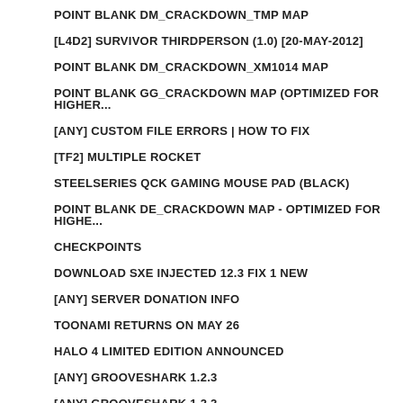POINT BLANK DM_CRACKDOWN_TMP MAP
[L4D2] SURVIVOR THIRDPERSON (1.0) [20-MAY-2012]
POINT BLANK DM_CRACKDOWN_XM1014 MAP
POINT BLANK GG_CRACKDOWN MAP (OPTIMIZED FOR HIGHER...
[ANY] CUSTOM FILE ERRORS | HOW TO FIX
[TF2] MULTIPLE ROCKET
STEELSERIES QCK GAMING MOUSE PAD (BLACK)
POINT BLANK DE_CRACKDOWN MAP - OPTIMIZED FOR HIGHE...
CHECKPOINTS
DOWNLOAD SXE INJECTED 12.3 FIX 1 NEW
[ANY] SERVER DONATION INFO
TOONAMI RETURNS ON MAY 26
HALO 4 LIMITED EDITION ANNOUNCED
[ANY] GROOVESHARK 1.2.3
[ANY] GROOVESHARK 1.2.2
[L4D2] ORIGINAL SURVIVORS SPAWNER
[CSS] CHECKPOINT EXTRACTION...